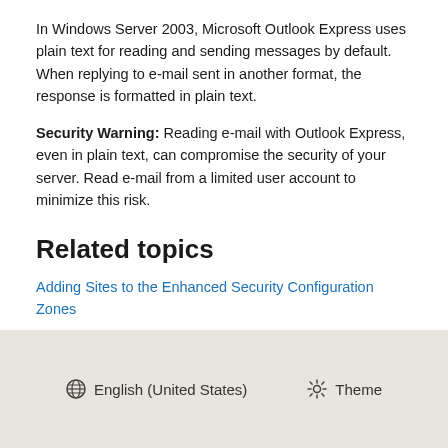In Windows Server 2003, Microsoft Outlook Express uses plain text for reading and sending messages by default. When replying to e-mail sent in another format, the response is formatted in plain text.
Security Warning: Reading e-mail with Outlook Express, even in plain text, can compromise the security of your server. Read e-mail from a limited user account to minimize this risk.
Related topics
Adding Sites to the Enhanced Security Configuration Zones
English (United States)   Theme